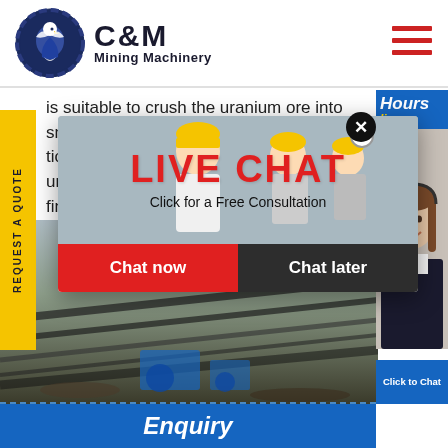[Figure (logo): C&M Mining Machinery logo with navy blue gear/eagle emblem and bold text]
is suitable to crush the uranium ore into small ticles, and they are widely used in the uranium fine
REQUEST A QUOTE
[Figure (photo): Mining conveyor belt facility with industrial equipment, blue machinery visible]
[Figure (screenshot): Live chat popup overlay with workers in hard hats, LIVE CHAT title in red, Chat now and Chat later buttons]
[Figure (photo): Customer service agent (woman with headset) in right panel]
Hours
line
LIVE CHAT
Click for a Free Consultation
Chat now
Chat later
Click to Chat
Enquiry